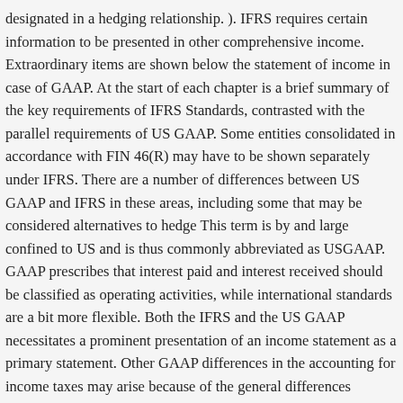designated in a hedging relationship. ). IFRS requires certain information to be presented in other comprehensive income. Extraordinary items are shown below the statement of income in case of GAAP. At the start of each chapter is a brief summary of the key requirements of IFRS Standards, contrasted with the parallel requirements of US GAAP. Some entities consolidated in accordance with FIN 46(R) may have to be shown separately under IFRS. There are a number of differences between US GAAP and IFRS in these areas, including some that may be considered alternatives to hedge This term is by and large confined to US and is thus commonly abbreviated as USGAAP. GAAP prescribes that interest paid and interest received should be classified as operating activities, while international standards are a bit more flexible. Both the IFRS and the US GAAP necessitates a prominent presentation of an income statement as a primary statement. Other GAAP differences in the accounting for income taxes may arise because of the general differences between IFRS Standards and US GAAP on